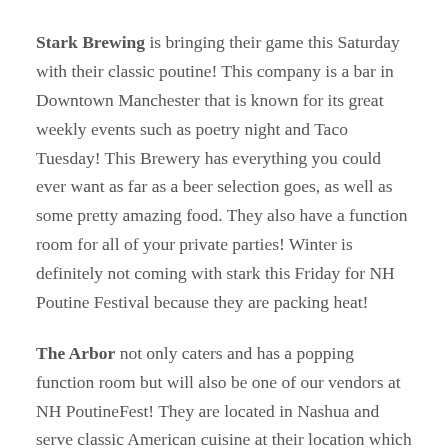Stark Brewing is bringing their game this Saturday with their classic poutine! This company is a bar in Downtown Manchester that is known for its great weekly events such as poetry night and Taco Tuesday! This Brewery has everything you could ever want as far as a beer selection goes, as well as some pretty amazing food. They also have a function room for all of your private parties! Winter is definitely not coming with stark this Friday for NH Poutine Festival because they are packing heat!
The Arbor not only caters and has a popping function room but will also be one of our vendors at NH PoutineFest! They are located in Nashua and serve classic American cuisine at their location which is a historic moody shoe factory as described on their